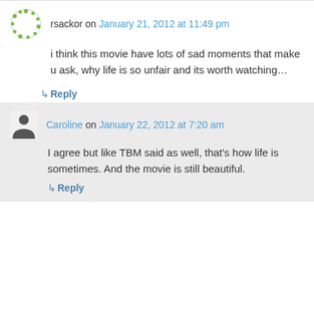rsackor on January 21, 2012 at 11:49 pm
i think this movie have lots of sad moments that make u ask, why life is so unfair and its worth watching…
↳ Reply
Caroline on January 22, 2012 at 7:20 am
I agree but like TBM said as well, that's how life is sometimes. And the movie is still beautiful.
↳ Reply